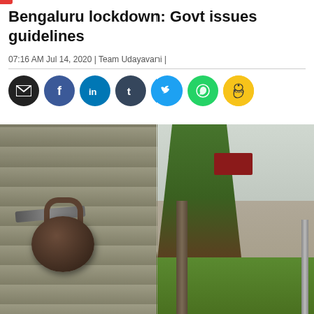Bengaluru lockdown: Govt issues guidelines
07:16 AM Jul 14, 2020 | Team Udayavani |
[Figure (infographic): Social media sharing icons: email (black), Facebook (blue), LinkedIn (blue), Tumblr (dark), Twitter (light blue), WhatsApp (green), Koo (yellow)]
[Figure (photo): Close-up photo of a padlock locking a shop shutter/rolling gate, with a street, trees and buildings visible in the blurred background. Depicts a locked-down street in Bengaluru.]